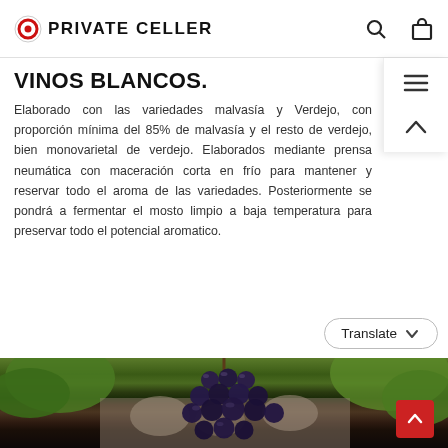PRIVATE CELLER
VINOS BLANCOS.
Elaborado con las variedades malvasía y Verdejo, con proporción mínima del 85% de malvasía y el resto de verdejo, bien monovarietal de verdejo. Elaborados mediante prensa neumática con maceración corta en frío para mantener y reservar todo el aroma de las variedades. Posteriormente se pondrá a fermentar el mosto limpio a baja temperatura para preservar todo el potencial aromatico.
[Figure (screenshot): Translate dropdown button]
[Figure (photo): Close-up photo of dark purple wine grapes on a vine with green leaves and rocky background]